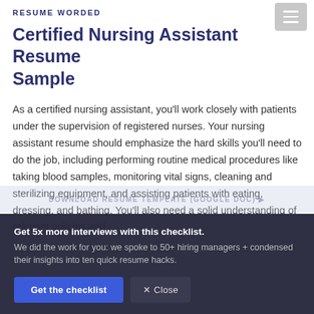RESUME WORDED
Certified Nursing Assistant Resume Sample
As a certified nursing assistant, you'll work closely with patients under the supervision of registered nurses. Your nursing assistant resume should emphasize the hard skills you'll need to do the job, including performing routine medical procedures like taking blood samples, monitoring vital signs, cleaning and sterilizing equipment, and assisting patients with eating, dressing, and bathing. You'll also need a solid understanding of relevant policies and
Get 5x more interviews with this checklist.
We did the work for you: we spoke to 50+ hiring managers + condensed their insights into ten quick resume hacks.